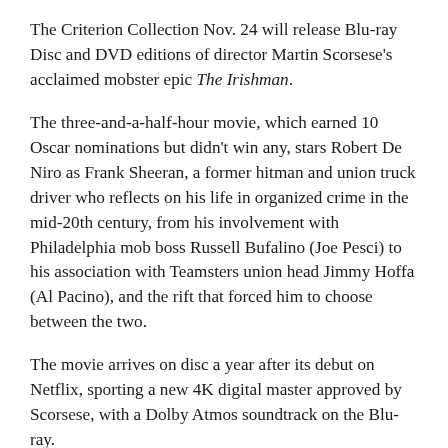The Criterion Collection Nov. 24 will release Blu-ray Disc and DVD editions of director Martin Scorsese's acclaimed mobster epic The Irishman.
The three-and-a-half-hour movie, which earned 10 Oscar nominations but didn't win any, stars Robert De Niro as Frank Sheeran, a former hitman and union truck driver who reflects on his life in organized crime in the mid-20th century, from his involvement with Philadelphia mob boss Russell Bufalino (Joe Pesci) to his association with Teamsters union head Jimmy Hoffa (Al Pacino), and the rift that forced him to choose between the two.
The movie arrives on disc a year after its debut on Netflix, sporting a new 4K digital master approved by Scorsese, with a Dolby Atmos soundtrack on the Blu-ray.
Follow us on Instagram